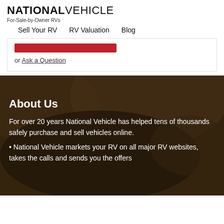NATIONAL VEHICLE
For-Sale-by-Owner RVs
Sell Your RV   RV Valuation   Blog
[Figure (other): Red button element (partially visible)]
or Ask a Question
[Figure (photo): Dark background landscape/outdoor scene]
About Us
For over 20 years National Vehicle has helped tens of thousands safely purchase and sell vehicles online.
• National Vehicle markets your RV on all major RV websites, takes the calls and sends you the offers